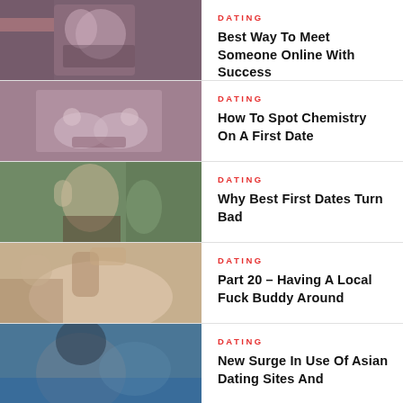[Figure (photo): Two people embracing and kissing closely, one wearing a patterned top]
DATING
Best Way To Meet Someone Online With Success
[Figure (photo): Two people holding hands outdoors]
DATING
How To Spot Chemistry On A First Date
[Figure (photo): Young woman looking distressed, holding a phone outdoors]
DATING
Why Best First Dates Turn Bad
[Figure (photo): Close-up of a woman's back and arm with dark accessory]
DATING
Part 20 – Having A Local Fuck Buddy Around
[Figure (photo): Woman with dark hair near water]
DATING
New Surge In Use Of Asian Dating Sites And